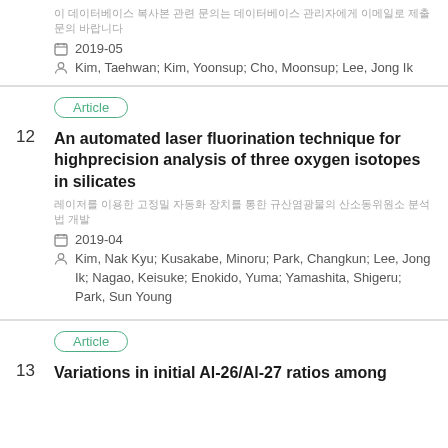[Korean title text]
2019-05
Kim, Taehwan; Kim, Yoonsup; Cho, Moonsup; Lee, Jong Ik
Article
An automated laser fluorination technique for highprecision analysis of three oxygen isotopes in silicates
[Korean subtitle text]
2019-04
Kim, Nak Kyu; Kusakabe, Minoru; Park, Changkun; Lee, Jong Ik; Nagao, Keisuke; Enokido, Yuma; Yamashita, Shigeru; Park, Sun Young
Article
Variations in initial Al-26/Al-27 ratios among